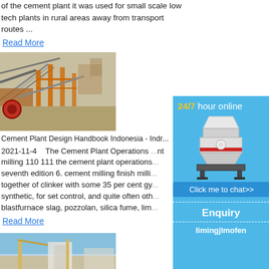of the cement plant it was used for small scale low tech plants in rural areas away from transport routes ...
Read More
[Figure (photo): Industrial cement plant with conveyor belts and orange structural steel frames]
Cement Plant Design Handbook Indonesia - Indr...
2021-11-4   The Cement Plant Operations ...nt milling 110 111 the cement plant operations... seventh edition 6. cement milling finish milli... together of clinker with some 35 per cent gy... synthetic, for set control, and quite often oth... blastfurnace slag, pozzolan, silica fume, lim...
Read More
[Figure (photo): Construction or industrial site with cranes, blue sky]
[Figure (infographic): Sidebar: 24/7 hour online, cone crusher machine image, Click me to chat>> button, Enquiry section, limingjlmofen text]